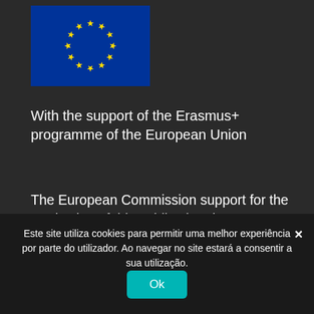[Figure (illustration): European Union flag: blue background with a circle of 12 yellow stars]
With the support of the Erasmus+ programme of the European Union
The European Commission support for the production of this publication does not constitute an endorsement of the contents which reflects the views only of the authors, and the Commission cannot be held responsible for any use which may
Este site utiliza cookies para permitir uma melhor experiência por parte do utilizador. Ao navegar no site estará a consentir a sua utilização.